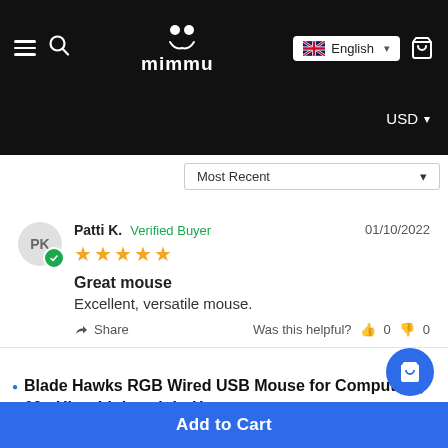mimmu — English USD
Most Recent
PK  Patti K.  Verified Buyer  01/10/2022  ★★★★★
Great mouse
Excellent, versatile mouse.
Share  Was this helpful?  👍 0  👎 0
Blade Hawks RGB Wired USB Mouse for Computers, 60g Ultra-Lightweight H...  USD 24.79  USD 15.38
Add to Cart